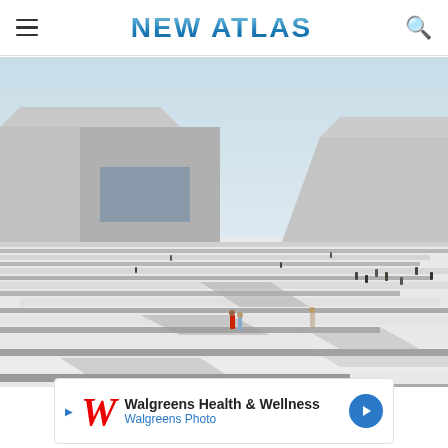NEW ATLAS
[Figure (photo): Exterior view of a large modern concrete architectural complex with wide stepped terraces/plazas. People are walking on the massive white/grey stepped outdoor space between two large angular concrete buildings. Clear sky in the background.]
[Figure (other): Advertisement banner: Walgreens Health & Wellness / Walgreens Photo with Walgreens logo and navigation arrow icon]